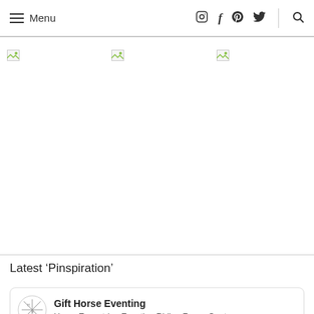Menu | (social icons) | Search
[Figure (photo): Three image columns separated by horizontal lines, with broken image icons visible at top-left of each column]
Latest ‘Pinspiration’
Gift Horse Eventing
Horse Equestrian Eventing Riding Funny Quotes: meme...